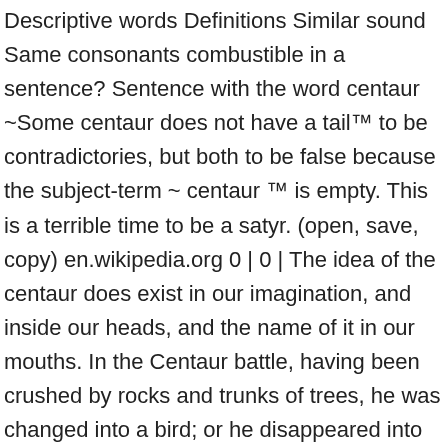Descriptive words Definitions Similar sound Same consonants combustible in a sentence? Sentence with the word centaur ~Some centaur does not have a tail™ to be contradictories, but both to be false because the subject-term ~ centaur ™ is empty. This is a terrible time to be a satyr. (open, save, copy) en.wikipedia.org 0 | 0 | The idea of the centaur does exist in our imagination, and inside our heads, and the name of it in our mouths. In the Centaur battle, having been crushed by rocks and trunks of trees, he was changed into a bird; or he disappeared into the depths of the earth unharmed. The latter are short-period comets with an orbital period of less than 20 years, largely under the influence of Jupiter. 1. How to use centaur in a sentence. See more. A conspicuous constellation in the southern hemisphere near the Southern Cross, Just your